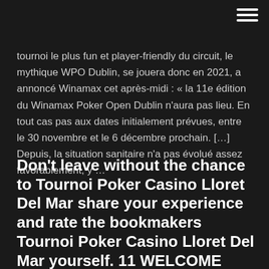tournoi le plus fun et player-friendly du circuit, le mythique WPO Dublin, se jouera donc en 2021, a annoncé Winamax cet après-midi : « la 11e édition du Winamax Poker Open Dublin n'aura pas lieu. En tout cas pas aux dates initialement prévues, entre le 30 novembre et le 6 décembre prochain. […] Depuis, la situation sanitaire n'a pas évolué assez favorablement, y …
Don't leave without the chance to Tournoi Poker Casino Lloret Del Mar share your experience and rate the bookmakers Tournoi Poker Casino Lloret Del Mar yourself. 11 WELCOME SPINS +